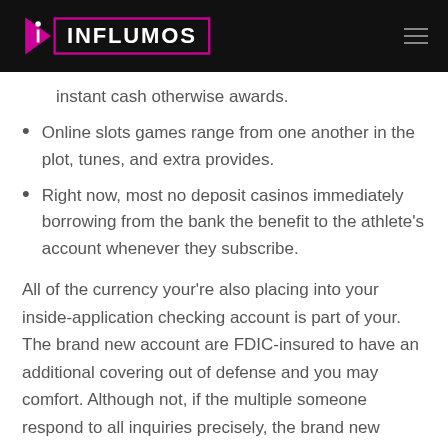[Figure (logo): iInflumos logo — pink triangle/arrow shape with 'i' followed by 'INFLUMOS' text in white on black background with pink/magenta border box]
instant cash otherwise awards.
Online slots games range from one another in the plot, tunes, and extra provides.
Right now, most no deposit casinos immediately borrowing from the bank the benefit to the athlete's account whenever they subscribe.
All of the currency your’re also placing into your inside-application checking account is part of your. The brand new account are FDIC-insured to have an additional covering out of defense and you may comfort. Although not, if the multiple someone respond to all inquiries precisely, the brand new award is actually split up ranging from